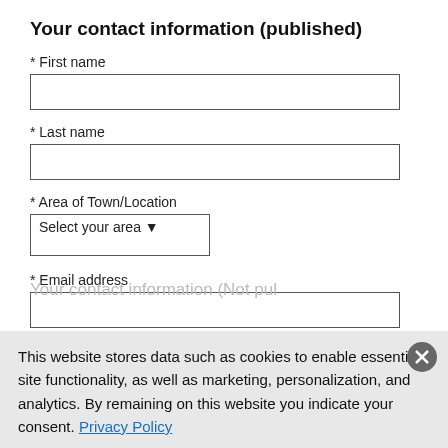Your contact information (published)
* First name
* Last name
* Area of Town/Location
Select your area
* Email address
We publish email addresses for most Guest Opinions. If you don't want your email address published, use the 'Notes to the editor' section above.
This website stores data such as cookies to enable essential site functionality, as well as marketing, personalization, and analytics. By remaining on this website you indicate your consent. Privacy Policy